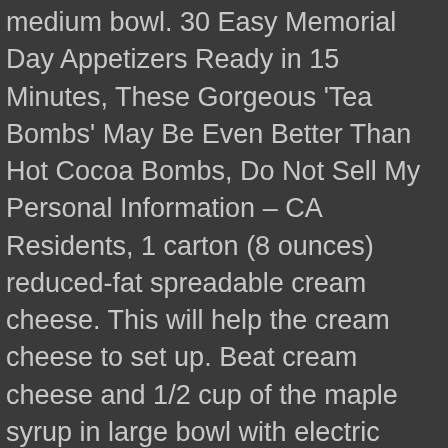medium bowl. 30 Easy Memorial Day Appetizers Ready in 15 Minutes, These Gorgeous 'Tea Bombs' May Be Even Better Than Hot Cocoa Bombs, Do Not Sell My Personal Information – CA Residents, 1 carton (8 ounces) reduced-fat spreadable cream cheese. This will help the cream cheese to set up. Beat cream cheese and 1/2 cup of the maple syrup in large bowl with electric mixer on medium speed until well blended. Put cream cheese in a medium bowl. The California Walnut Commission, established in 1987, is funded by mandatory assessments of the growers. It's also wonderful on toast or muffins. Results 1 - 10 of 229 for frosted walnuts. Beat softened cream cheese with syrup and extract until well mixed. Bake until the crust is lightly golden, about 10 minutes. Add walnuts, raisins, syrup and cinnamon. In food processor grind crumbs, walnuts and brown sugar till â¦ Press onto â¦ Honey Walnut Cream Cheese Spread ... ounces reduced-fat cream cheese, softened . Room temperature cream cheese and butter- Pull these out 2 hours before decorating the cinnamon rolls. Combine graham cracker crumbs, walnuts and